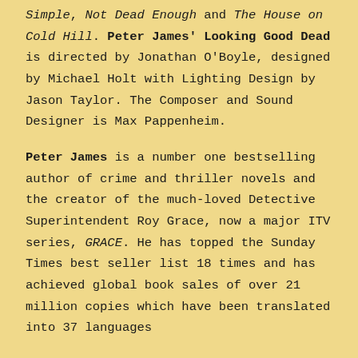Simple, Not Dead Enough and The House on Cold Hill. Peter James' Looking Good Dead is directed by Jonathan O'Boyle, designed by Michael Holt with Lighting Design by Jason Taylor. The Composer and Sound Designer is Max Pappenheim.
Peter James is a number one bestselling author of crime and thriller novels and the creator of the much-loved Detective Superintendent Roy Grace, now a major ITV series, GRACE. He has topped the Sunday Times best seller list 18 times and has achieved global book sales of over 21 million copies which have been translated into 37 languages